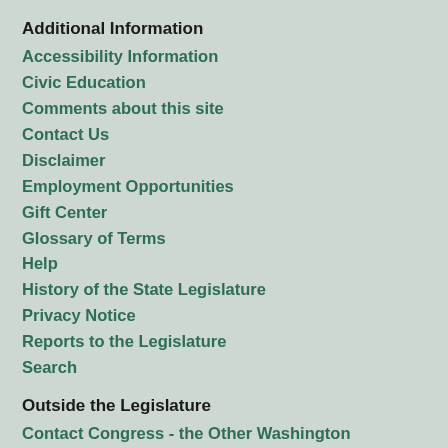Additional Information
Accessibility Information
Civic Education
Comments about this site
Contact Us
Disclaimer
Employment Opportunities
Gift Center
Glossary of Terms
Help
History of the State Legislature
Privacy Notice
Reports to the Legislature
Search
Outside the Legislature
Contact Congress - the Other Washington